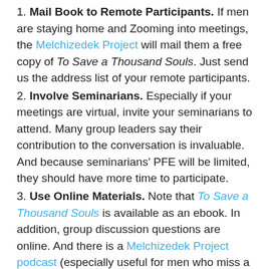1. Mail Book to Remote Participants. If men are staying home and Zooming into meetings, the Melchizedek Project will mail them a free copy of To Save a Thousand Souls. Just send us the address list of your remote participants.
2. Involve Seminarians. Especially if your meetings are virtual, invite your seminarians to attend. Many group leaders say their contribution to the conversation is invaluable. And because seminarians' PFE will be limited, they should have more time to participate.
3. Use Online Materials. Note that To Save a Thousand Souls is available as an ebook. In addition, group discussion questions are online. And there is a Melchizedek Project podcast (especially useful for men who miss a session).